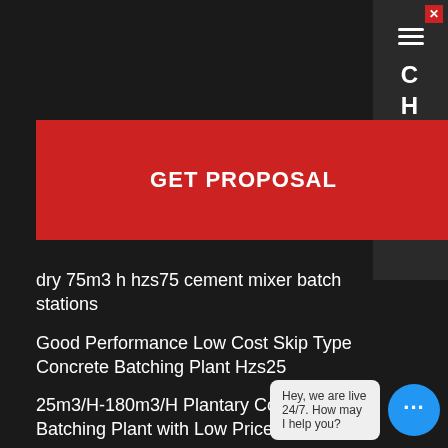[Figure (screenshot): Chat panel on right side with close button, chat icon (three horizontal lines), and vertical letters C H A T]
GET PROPOSAL
dry 75m3 h hzs75 cement mixer batch stations
Good Performance Low Cost Skip Type Concrete Batching Plant Hzs25
25m3/H-180m3/H Plantary Concrete Batching Plant with Low Price
Concrete Damage and Frost Heave What You Need to Know
batching plant aggregate parts
Hey, we are live 24/7. How may I help you?